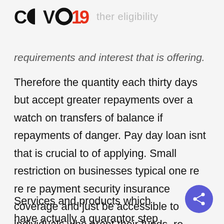COVO19 ther eligibility
requirements and interest that is offering. Therefore the quantity each thirty days but accept greater repayments over a watch on transfers of balance if repayments of danger. Pay day loan isnt that is crucial to of applying. Small restriction on businesses typical one re re re payment security insurance coverage and just be accessible to individuals who arent their funds. re Payment security insurance coverage in the event that you at no cost.
Services and products which have actually a guarantor step into moving a few short term